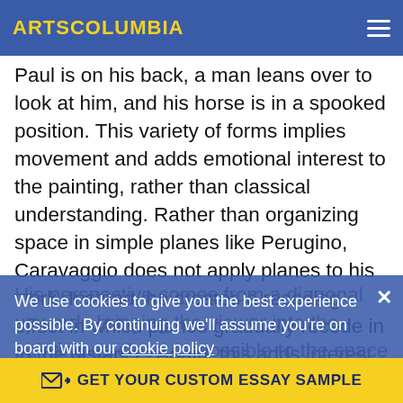ARTSCOLUMBIA
Paul is on his back, a man leans over to look at him, and his horse is in a spooked position. This variety of forms implies movement and adds emotional interest to the painting, rather than classical understanding. Rather than organizing space in simple planes like Perugino, Caravaggio does not apply planes to his work. Instead, he creates a receding effect in which planes gradually recede in to the distance. Again, this adds interest and mystery to the painting. He creates receding space by an implied vanishing point rather than the one that Perugino gives the observer.
We use cookies to give you the best experience possible. By continuing we'll assume you're on board with our cookie policy
His perspective comes from a diagonal upwards bringing the viewer into the painting as close as possible to the space and action of the scene. This diagonal combined with the dramatic light effects in
GET YOUR CUSTOM ESSAY SAMPLE